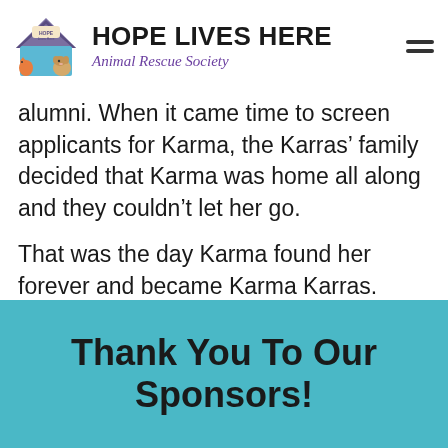HOPE LIVES HERE Animal Rescue Society
alumni. When it came time to screen applicants for Karma, the Karras’ family decided that Karma was home all along and they couldn’t let her go.
That was the day Karma found her forever and became Karma Karras.
Thank You To Our Sponsors!